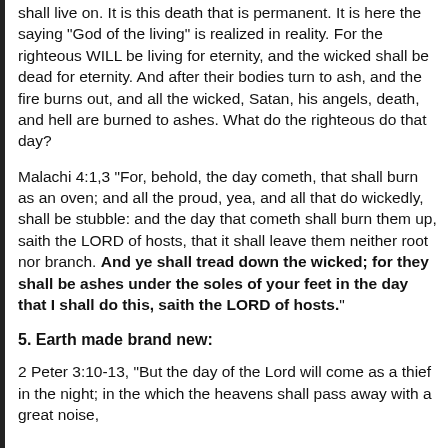shall live on. It is this death that is permanent. It is here the saying "God of the living" is realized in reality. For the righteous WILL be living for eternity, and the wicked shall be dead for eternity. And after their bodies turn to ash, and the fire burns out, and all the wicked, Satan, his angels, death, and hell are burned to ashes. What do the righteous do that day?
Malachi 4:1,3 "For, behold, the day cometh, that shall burn as an oven; and all the proud, yea, and all that do wickedly, shall be stubble: and the day that cometh shall burn them up, saith the LORD of hosts, that it shall leave them neither root nor branch. And ye shall tread down the wicked; for they shall be ashes under the soles of your feet in the day that I shall do this, saith the LORD of hosts."
5. Earth made brand new:
2 Peter 3:10-13, "But the day of the Lord will come as a thief in the night; in the which the heavens shall pass away with a great noise,